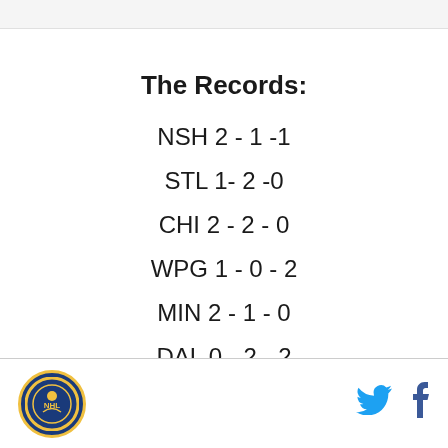The Records:
NSH  2 - 1 -1
STL  1- 2 -0
CHI  2 - 2 - 0
WPG  1 - 0 - 2
MIN  2 - 1 - 0
DAL  0 - 2 - 2
COL  2 - 1 - 0
[logo] [twitter] [facebook]